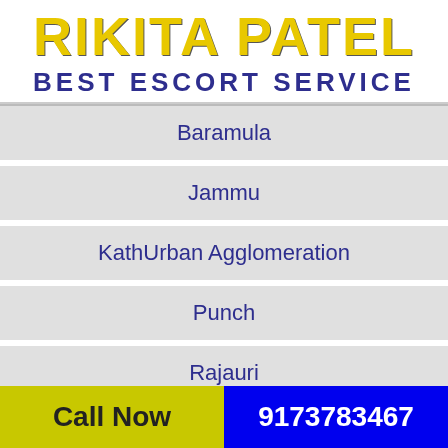RIKITA PATEL BEST ESCORT SERVICE
Baramula
Jammu
KathUrban Agglomeration
Punch
Rajauri
Sopore
Call Now  9173783467